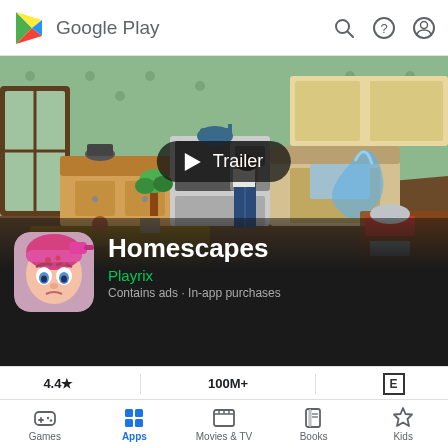Google Play
[Figure (screenshot): Google Play store page for Homescapes game by Playrix showing an isometric kitchen scene with a Trailer play button overlay, app icon, title, developer name, and stats showing 4.4 star rating, 100M+ downloads, and E rating]
Homescapes
Playrix
Contains ads · In-app purchases
4.4★   100M+   E
Games   Apps   Movies & TV   Books   Kids